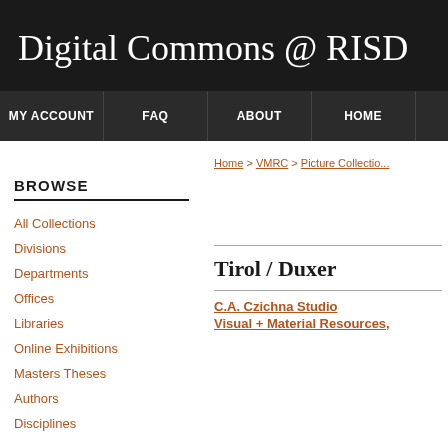Digital Commons @ RISD
MY ACCOUNT | FAQ | ABOUT | HOME
Home > VMRC > Picture Collectio...
BROWSE
All Collections
Divisions
Departments
Offices
Libraries
Online Exhibitions
Masters Theses
Authors
Disciplines
Tirol / Duxer
C.A. Czichna Studio
Visual + Material Resources,